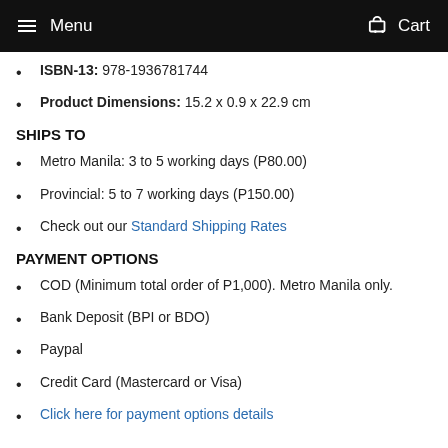Menu   Cart
ISBN-13: 978-1936781744
Product Dimensions: 15.2 x 0.9 x 22.9 cm
SHIPS TO
Metro Manila: 3 to 5 working days (P80.00)
Provincial: 5 to 7 working days (P150.00)
Check out our Standard Shipping Rates
PAYMENT OPTIONS
COD (Minimum total order of P1,000). Metro Manila only.
Bank Deposit (BPI or BDO)
Paypal
Credit Card (Mastercard or Visa)
Click here for payment options details